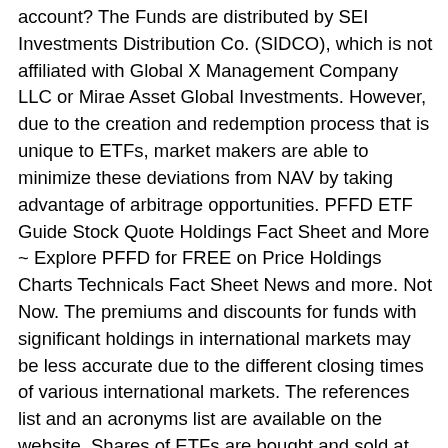account? The Funds are distributed by SEI Investments Distribution Co. (SIDCO), which is not affiliated with Global X Management Company LLC or Mirae Asset Global Investments. However, due to the creation and redemption process that is unique to ETFs, market makers are able to minimize these deviations from NAV by taking advantage of arbitrage opportunities. PFFD ETF Guide Stock Quote Holdings Fact Sheet and More ~ Explore PFFD for FREE on Price Holdings Charts Technicals Fact Sheet News and more. Not Now. The premiums and discounts for funds with significant holdings in international markets may be less accurate due to the different closing times of various international markets. The references list and an acronyms list are available on the website. Shares of ETFs are bought and sold at market price (not NAV) and are not individually redeemed from the Fund. Preferred ETF (PFFD). Austin. Welcome to LifeVantage. Last updated 2/2008 *italicized